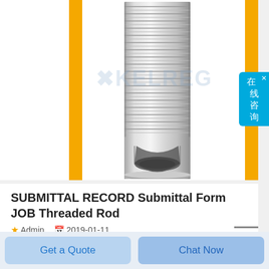[Figure (photo): Photograph of a threaded rod with hollow cylindrical end, silver metal, against white background with yellow vertical bars on sides. Watermark text 'KELREG' overlaid.]
SUBMITTAL RECORD Submittal Form JOB Threaded Rod
Admin   2019-01-11
21065 DOMB381B 3 8 16 x 1 Bolt Bulk 1000 Bx THREADED ROD ACCESSORIES Duro Dyne s